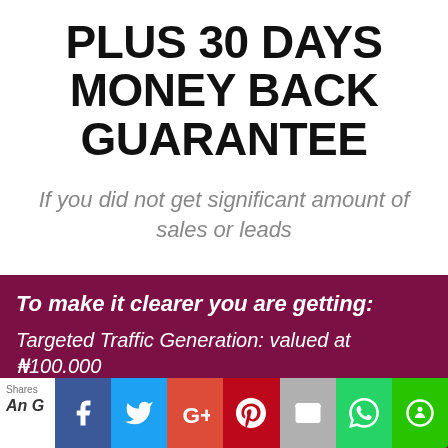PLUS 30 DAYS MONEY BACK GUARANTEE
If you did not get significant amount of sales or leads
To make it clearer you are getting:
Targeted Traffic Generation: valued at ₦100.000
Shares
An G